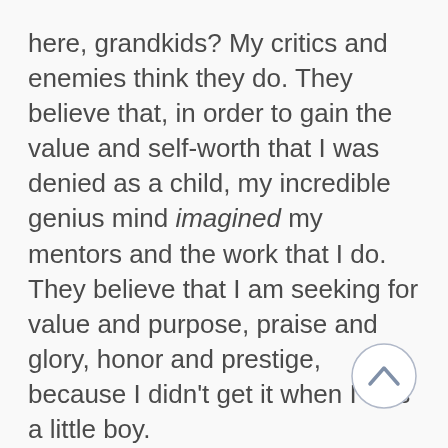here, grandkids?  My critics and enemies think they do.  They believe that, in order to gain the value and self-worth that I was denied as a child, my incredible genius mind imagined my mentors and the work that I do.  They believe that I am seeking for value and purpose, praise and glory, honor and prestige, because I didn't get it when I was a little boy.

Okay, they got me!  NOT!

Let's consider the Real Truth™ about what I could have become had I so chosen.  I could have become a world reknowned criminal defense attorney, who could have earned
[Figure (other): A circular scroll-to-top button with an upward-pointing chevron icon, positioned in the lower-right area of the page.]